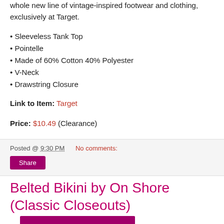whole new line of vintage-inspired footwear and clothing, exclusively at Target.
Sleeveless Tank Top
Pointelle
Made of 60% Cotton 40% Polyester
V-Neck
Drawstring Closure
Link to Item: Target
Price: $10.49 (Clearance)
Posted @ 9:30 PM   No comments:
Belted Bikini by On Shore (Classic Closeouts)